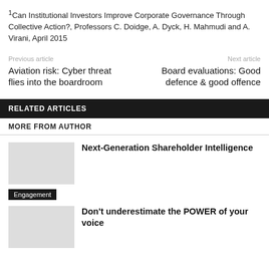1Can Institutional Investors Improve Corporate Governance Through Collective Action?, Professors C. Doidge, A. Dyck, H. Mahmudi and A. Virani, April 2015
Previous article
Aviation risk: Cyber threat flies into the boardroom
Next article
Board evaluations: Good defence & good offence
RELATED ARTICLES
MORE FROM AUTHOR
Next-Generation Shareholder Intelligence
Engagement
Don't underestimate the POWER of your voice